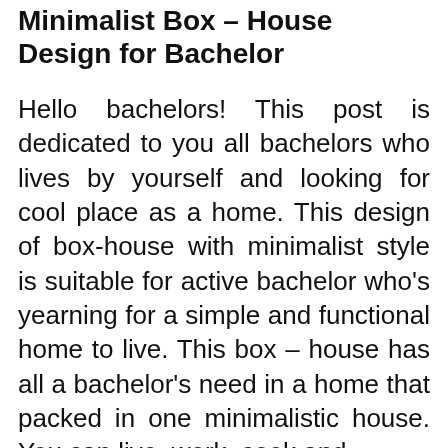Minimalist Box – House Design for Bachelor
Hello bachelors! This post is dedicated to you all bachelors who lives by yourself and looking for cool place as a home. This design of box-house with minimalist style is suitable for active bachelor who's yearning for a simple and functional home to live. This box – house has all a bachelor's need in a home that packed in one minimalistic house. You can live, work, cook and